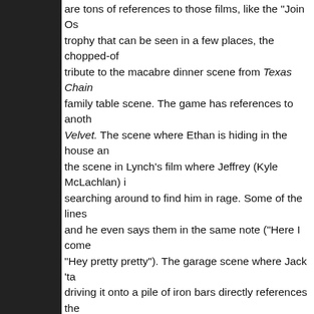are tons of references to those films, like the 'Join Us' trophy that can be seen in a few places, the chopped-off tribute to the macabre dinner scene from Texas Chain family table scene. The game has references to another Velvet. The scene where Ethan is hiding in the house and the scene in Lynch's film where Jeffrey (Kyle McLachlan) is searching around to find him in rage. Some of the lines and he even says them in the same note ('Here I come' 'Hey pretty pretty'). The garage scene where Jack 'ta driving it onto a pile of iron bars directly references the well and a terrifying drive in the highway ensues. Jack movie. The games in Lucas Baker's 'Paradise' which invo with the corpse and the half-dead policeman, arranged b
It's not easy to say if Resident Evil 7 is actually a game th and we don't know how much it will affect the possible just like the two Revelations, that deals with causes an awaited remake of Resident Evil 2 still in the works, it Capcom. Resident Evil 7 may not bring something gro overturned to some degree, but it's well-made and did